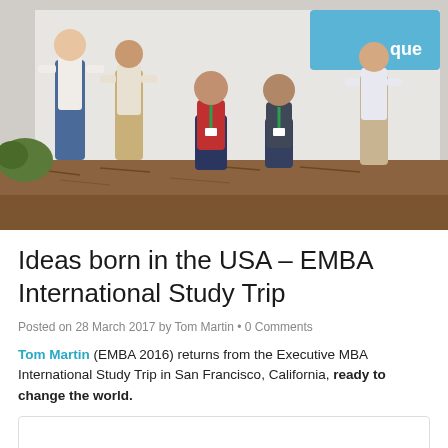[Figure (photo): Group photo of several men posing outdoors in front of a white wall with a partial sign/logo visible. Some are standing, two are crouching. A mulched garden area is in the foreground.]
Ideas born in the USA – EMBA International Study Trip
Posted on 28 March 2017 by Tom Martin • 0 Comments
Tom Martin (EMBA 2016) returns from the Executive MBA International Study Trip in San Francisco, California, ready to change the world.